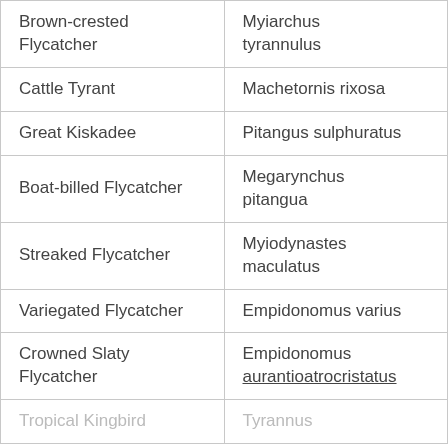| Brown-crested Flycatcher | Myiarchus tyrannulus |
| Cattle Tyrant | Machetornis rixosa |
| Great Kiskadee | Pitangus sulphuratus |
| Boat-billed Flycatcher | Megarynchus pitangua |
| Streaked Flycatcher | Myiodynastes maculatus |
| Variegated Flycatcher | Empidonomus varius |
| Crowned Slaty Flycatcher | Empidonomus aurantioatrocristatus |
| Tropical Kingbird | Tyrannus |